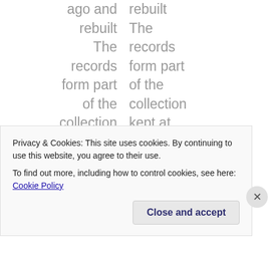ago and rebuilt The records form part of the collection kept at the Crime Through Time Museum ,
rebuilt The records form part of the collection kept at the Crime Through Time Museum , Little
Privacy & Cookies: This site uses cookies. By continuing to use this website, you agree to their use. To find out more, including how to control cookies, see here: Cookie Policy
Close and accept